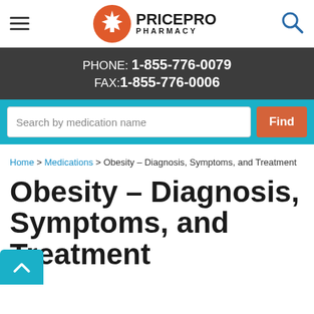PricePro Pharmacy — PHONE: 1-855-776-0079 FAX: 1-855-776-0006
Search by medication name
Home > Medications > Obesity – Diagnosis, Symptoms, and Treatment
Obesity – Diagnosis, Symptoms, and Treatment